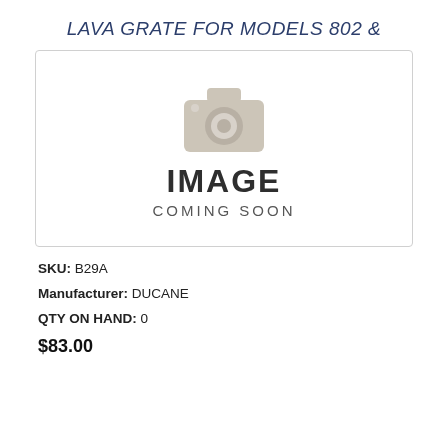LAVA GRATE FOR MODELS 802 &
[Figure (photo): Placeholder image with camera icon and text 'IMAGE COMING SOON']
SKU: B29A
Manufacturer: DUCANE
QTY ON HAND: 0
$83.00